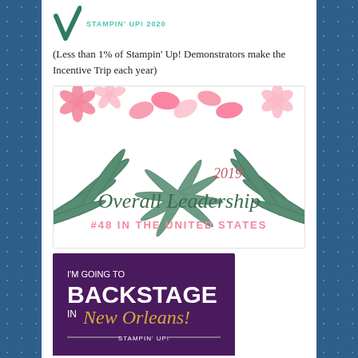[Figure (logo): Stampin' Up! 2020 logo with green checkmark/leaf and teal text]
(Less than 1% of Stampin' Up! Demonstrators make the Incentive Trip each year)
[Figure (illustration): 2019 Overall Leadership #48 in the United States award graphic with tropical flowers and palm leaves]
[Figure (illustration): I'm going to Backstage in New Orleans! Stampin' Up! promotional banner with purple background and gold script text]
[Figure (other): Search box with magnifying glass icon and placeholder text 'Search']